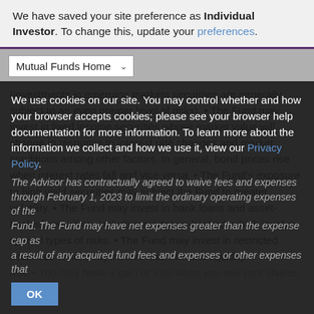We have saved your site preference as Individual Investor. To change this, update your preferences.
Mutual Funds Home
(Investments in emerging markets securities are generally subject to an even greater level of risks). • The Fund may invest in fixed income securities whose market value will change in response to interest rate changes and market conditions among other factors. In general, bond prices rise when interest rates fall and vice versa. • The Fund's exposure to high yield securities may subject the Fund to greater volatility. • The Fund may invest in bank loans and asset-backed securities, including mortgage-backed, which involve special types of risks. • The Fund may invest in restricted securities which may involve financial and liquidity risk. • You may have a gain or loss when you sell your shares. • It is
We use cookies on our site. You may control whether and how your browser accepts cookies; please see your browser help documentation for more information. To learn more about the information we collect and how we use it, view our Privacy Policy.
The Advisor has contractually agreed to waive fees and expenses through February 1, 2023 to limit the ordinary operating expenses of the Fund. The Fund may have net expenses greater than the expense cap as a result of any acquired fund fees and expenses or other expenses that